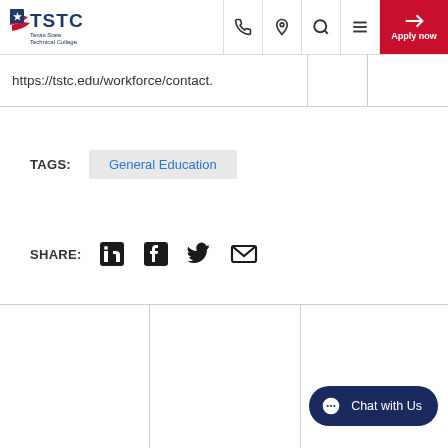[Figure (logo): TSTC Texas State Technical College logo with navigation icons and Apply now button]
https://tstc.edu/workforce/contact.
TAGS: General Education
SHARE: [LinkedIn] [Facebook] [Twitter] [Email]
[Figure (screenshot): Chat with Us button at bottom right]
Chat with Us